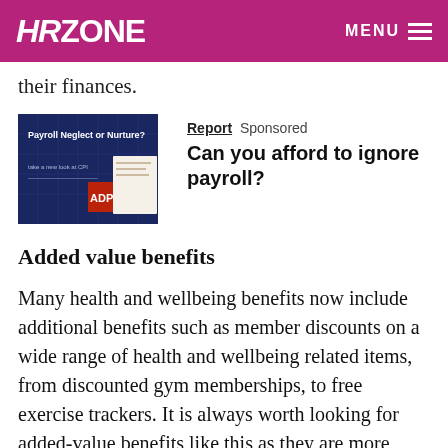HRzone  MENU
their finances.
[Figure (illustration): Book cover showing 'Payroll Neglect or Nurture?' report with dark blue background and ADP logo]
Report  Sponsored
Can you afford to ignore payroll?
Added value benefits
Many health and wellbeing benefits now include additional benefits such as member discounts on a wide range of health and wellbeing related items, from discounted gym memberships, to free exercise trackers. It is always worth looking for added-value benefits like this as they are more common than many people realise.